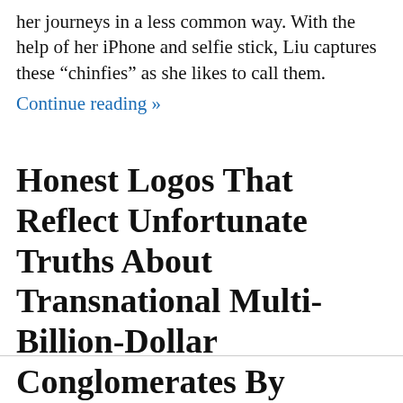her journeys in a less common way. With the help of her iPhone and selfie stick, Liu captures these “chinfies” as she likes to call them.
Continue reading »
Honest Logos That Reflect Unfortunate Truths About Transnational Multi-Billion-Dollar Conglomerates By Viktor Hertz